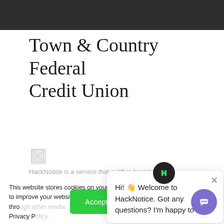[Figure (screenshot): Dark navigation bar at top of webpage]
Town & Country Federal Credit Union
[Figure (photo): Broken/loading image placeholder]
HackNotice is a service that notifies brands and
This website stores cookies on your computer. These cookies are used to improve your website experience you, both on this website and through other media. To find out more about the cookies we use, see our Privacy P
We won't track your site. But in order to c we'll have to use jus not asked to make this choice again.
Hi! 👋 Welcome to HackNotice. Got any questions? I'm happy to help.